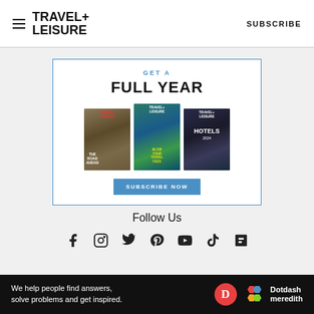TRAVEL+ LEISURE   SUBSCRIBE
[Figure (infographic): Subscription advertisement box with blue border. Text: GET A FULL YEAR. Three magazine covers shown (Travel+Leisure). Subscribe Now button.]
Follow Us
[Figure (infographic): Social media icons: Facebook, Instagram, Twitter, Pinterest, YouTube, TikTok, Flipboard]
TRIP IDEAS
TRAVEL TIPS
[Figure (infographic): Black ad banner: We help people find answers, solve problems and get inspired. Dotdash meredith logo.]